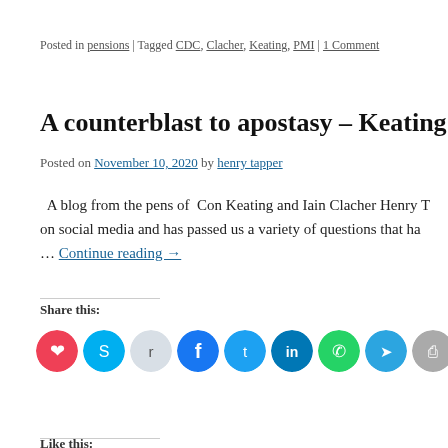Posted in pensions | Tagged CDC, Clacher, Keating, PMI | 1 Comment
A counterblast to apostasy – Keating and…
Posted on November 10, 2020 by henry tapper
A blog from the pens of Con Keating and Iain Clacher Henry T on social media and has passed us a variety of questions that ha… Continue reading →
Share this:
[Figure (infographic): Row of social media sharing icon circles: Pocket (red), Skype (blue), Reddit (light blue), Facebook (dark blue), Twitter (blue), LinkedIn (dark blue), WhatsApp (green), Telegram (blue), Print (gray), Pinterest (red), Email (gray), and one more (partially visible)]
Like this: